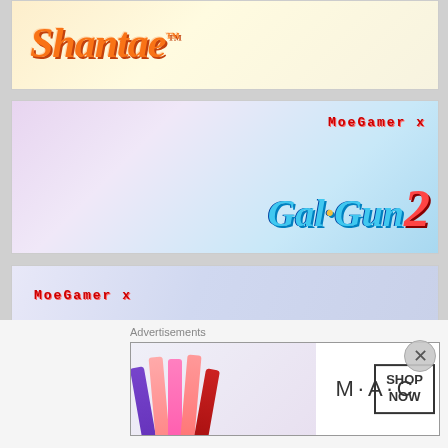[Figure (illustration): Shantae game banner with orange stylized logo text and anime character art on right side]
[Figure (illustration): MoeGamer x Gal*Gun 2 banner with anime girl characters and colorful logo]
[Figure (illustration): MoeGamer x Blue Reflection banner with anime character art in diamond frames and text logo]
[Figure (illustration): MoeGamer x Xenoblade Chronicles 2 banner with game characters on grassy field]
[Figure (illustration): Partially visible MoeGamer x [game] banner at bottom]
Advertisements
[Figure (illustration): MAC cosmetics advertisement with lipstick products and SHOP NOW call to action]